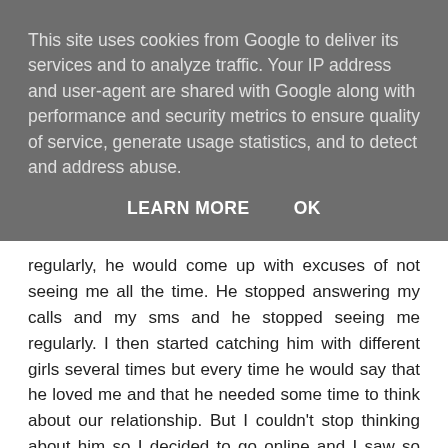This site uses cookies from Google to deliver its services and to analyze traffic. Your IP address and user-agent are shared with Google along with performance and security metrics to ensure quality of service, generate usage statistics, and to detect and address abuse.
LEARN MORE   OK
regularly, he would come up with excuses of not seeing me all the time. He stopped answering my calls and my sms and he stopped seeing me regularly. I then started catching him with different girls several times but every time he would say that he loved me and that he needed some time to think about our relationship. But I couldn't stop thinking about him so I decided to go online and I saw so many good talks about this spell caster called Dr Raypower and I contacted him and explained my problems to him. He cast a love spell for me which i use and after 24 hours, my boyfriend came back to me and started contacting me regularly and we